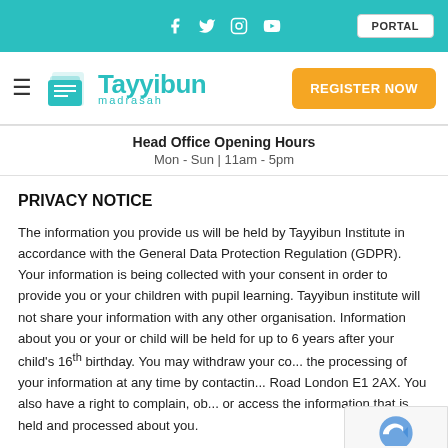Social icons: f, Twitter, Instagram, YouTube | PORTAL button
[Figure (logo): Tayyibun Madrasah logo with teal book icon and text. REGISTER NOW button on right.]
Head Office Opening Hours
Mon - Sun | 11am - 5pm
PRIVACY NOTICE
The information you provide us will be held by Tayyibun Institute in accordance with the General Data Protection Regulation (GDPR). Your information is being collected with your consent in order to provide you or your children with pupil learning. Tayyibun institute will not share your information with any other organisation. Information about you or your or child will be held for up to 6 years after your child's 16th birthday. You may withdraw your co... the processing of your information at any time by contactin... Road London E1 2AX. You also have a right to complain, ob... or access the information that is held and processed about you.